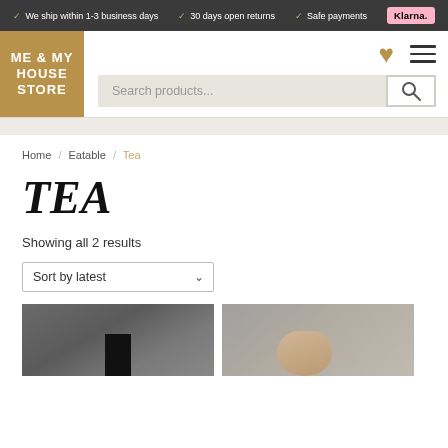We ship within 1-3 business days  30 days open returns  Safe payments  Klarna.
[Figure (screenshot): Me & My House Store logo — gold square with white bold text]
Search products...
Home / Eatable / Tea
TEA
Showing all 2 results
Sort by latest
[Figure (photo): Product photo 1 — dark textured background with black tea box]
[Figure (photo): Product photo 2 — light grey background with a hand]